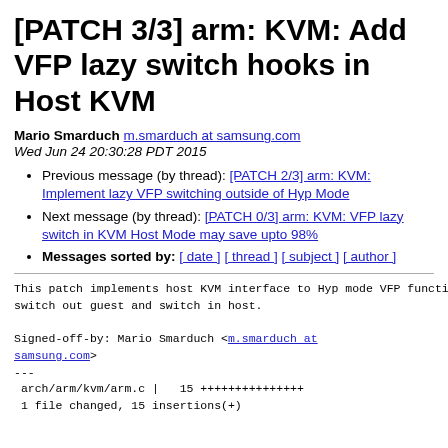[PATCH 3/3] arm: KVM: Add VFP lazy switch hooks in Host KVM
Mario Smarduch m.smarduch at samsung.com
Wed Jun 24 20:30:28 PDT 2015
Previous message (by thread): [PATCH 2/3] arm: KVM: Implement lazy VFP switching outside of Hyp Mode
Next message (by thread): [PATCH 0/3] arm: KVM: VFP lazy switch in KVM Host Mode may save upto 98%
Messages sorted by: [ date ] [ thread ] [ subject ] [ author ]
This patch implements host KVM interface to Hyp mode VFP function to
switch out guest and switch in host.

Signed-off-by: Mario Smarduch <m.smarduch at samsung.com>
---
 arch/arm/kvm/arm.c |   15 +++++++++++++++
 1 file changed, 15 insertions(+)